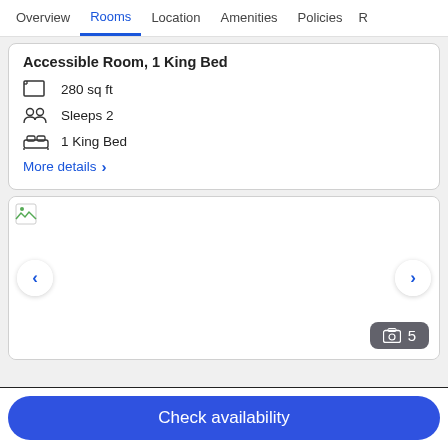Overview  Rooms  Location  Amenities  Policies  R
Accessible Room, 1 King Bed
280 sq ft
Sleeps 2
1 King Bed
More details >
[Figure (photo): Hotel room photo carousel showing broken image placeholder with navigation arrows and photo count badge showing 5 photos]
Check availability